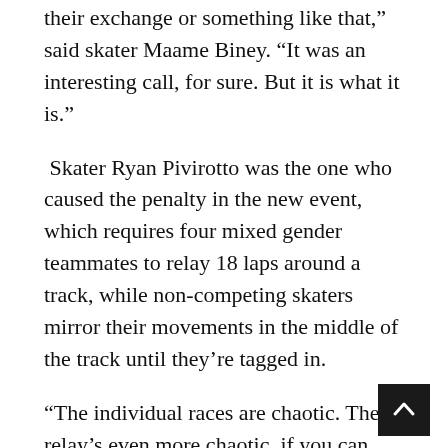their exchange or something like that,” said skater Maame Biney. “It was an interesting call, for sure. But it is what it is.”
Skater Ryan Pivirotto was the one who caused the penalty in the new event, which requires four mixed gender teammates to relay 18 laps around a track, while non-competing skaters mirror their movements in the middle of the track until they’re tagged in.
“The individual races are chaotic. The relay’s even more chaotic, if you can believe it,” Pivirotto said. “You just put 16 people on the same ice and something’s bound to happen.”